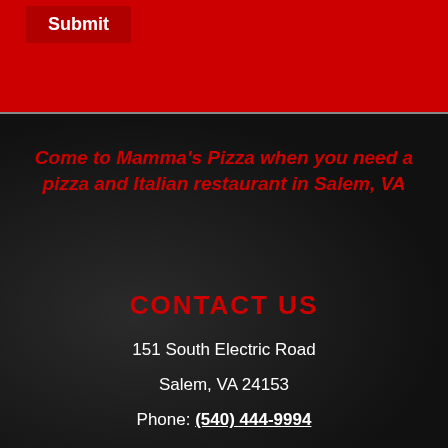[Figure (screenshot): Red background top section of a restaurant website with a Submit button]
Submit
Come to Mamma's Pizza when you need a pizza and Italian restaurant in Salem, VA
CONTACT US
151 South Electric Road
Salem, VA 24153
Phone: (540) 444-9994